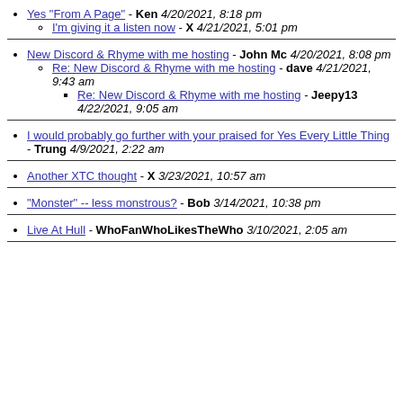Yes "From A Page" - Ken 4/20/2021, 8:18 pm
I'm giving it a listen now - X 4/21/2021, 5:01 pm
New Discord & Rhyme with me hosting - John Mc 4/20/2021, 8:08 pm
Re: New Discord & Rhyme with me hosting - dave 4/21/2021, 9:43 am
Re: New Discord & Rhyme with me hosting - Jeepy13 4/22/2021, 9:05 am
I would probably go further with your praised for Yes Every Little Thing - Trung 4/9/2021, 2:22 am
Another XTC thought - X 3/23/2021, 10:57 am
"Monster" -- less monstrous? - Bob 3/14/2021, 10:38 pm
Live At Hull - WhoFanWhoLikesTheWho 3/10/2021, 2:05 am